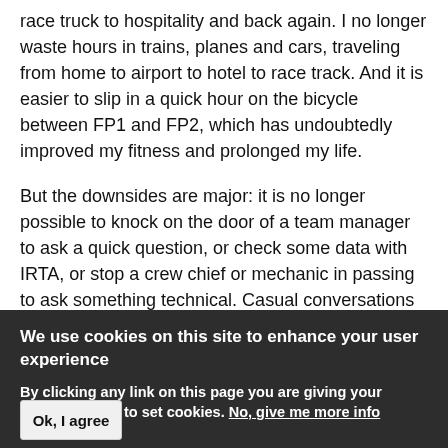race truck to hospitality and back again. I no longer waste hours in trains, planes and cars, traveling from home to airport to hotel to race track. And it is easier to slip in a quick hour on the bicycle between FP1 and FP2, which has undoubtedly improved my fitness and prolonged my life.
But the downsides are major: it is no longer possible to knock on the door of a team manager to ask a quick question, or check some data with IRTA, or stop a crew chief or mechanic in passing to ask something technical. Casual conversations do not happen. I miss friends and colleagues, people I have worked with for years, through many ups and downs. And though I don't miss
We use cookies on this site to enhance your user experience
By clicking any link on this page you are giving your consent for us to set cookies. No, give me more info